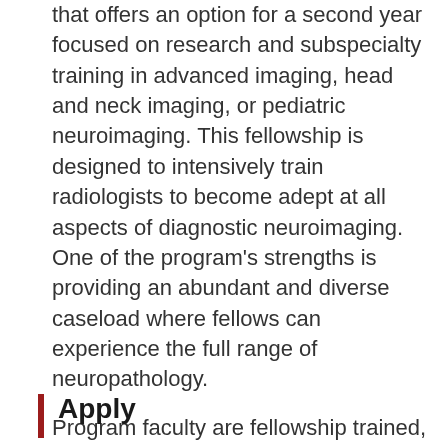that offers an option for a second year focused on research and subspecialty training in advanced imaging, head and neck imaging, or pediatric neuroimaging. This fellowship is designed to intensively train radiologists to become adept at all aspects of diagnostic neuroimaging. One of the program's strengths is providing an abundant and diverse caseload where fellows can experience the full range of neuropathology.
Program faculty are fellowship trained, ABR CAQ-certified neuroradiologists who present weekly didactic lectures and case conferences. Mentorship in both the clinical and academic settings is available for future neuroradiologists as part of this fellowship.
Apply